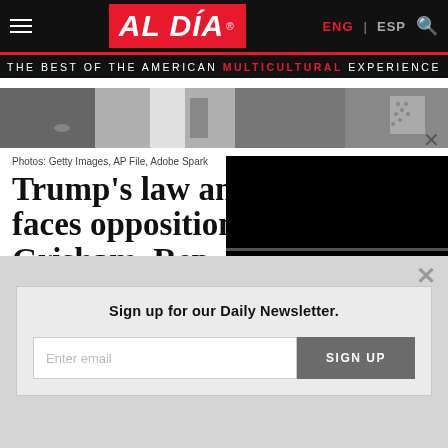AL DÍA — THE BEST OF THE AMERICAN MULTICULTURAL EXPERIENCE | ENG | ESP
[Figure (photo): Cropped photo strip showing two or more people in suits, partial view]
Photos: Getty Images, AP File, Adobe Spark
Trump's law and order faces opposition from Grisham, Rep. Be...
[Figure (screenshot): Video player overlay with transport controls showing 00:00 / 00:00]
Sign up for our Daily Newsletter.
Enter email  SIGN UP